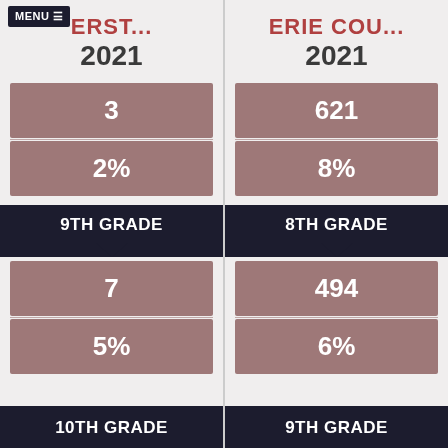MENU ≡
AMERST... 2021
ERIE COU... 2021
3
2%
9TH GRADE
7
5%
10TH GRADE
621
8%
8TH GRADE
494
6%
9TH GRADE